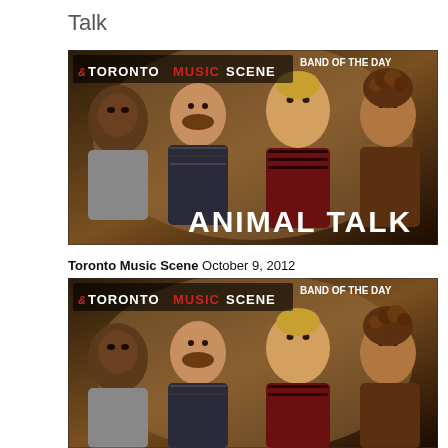Talk
[Figure (photo): Toronto Music Scene Band of the Day photo featuring four members of Animal Talk band, dark background]
Toronto Music Scene October 9, 2012
[Figure (photo): Toronto Music Scene Band of the Day photo featuring the same four members of Animal Talk band, cropped version]